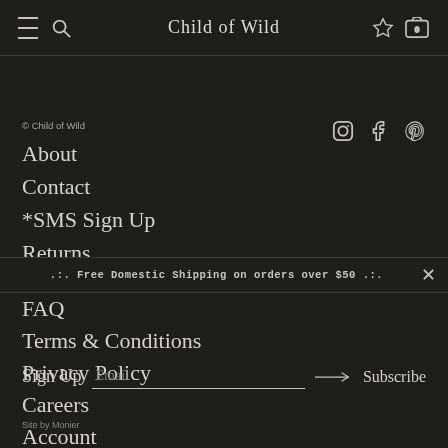Child of Wild
© Child of Wild
About
Contact
*SMS Sign Up
Returns
.:. Free Domestic Shipping on orders over $50 .:.
FAQ
Terms & Conditions
Privacy Policy
Careers
Account
Sign Up  Email  → Subscribe
Site by Monier